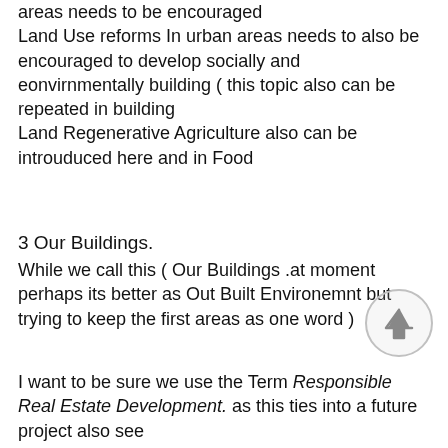areas needs to be encouraged Land Use reforms In urban areas needs to also be encouraged to develop socially and eonvirnmentally building ( this topic also can be repeated in building Land Regenerative Agriculture also can be introuduced here and in Food
3 Our Buildings.
While we call this ( Our Buildings .at moment perhaps its better as Out Built Environemnt but trying to keep the first areas as one word )
I want to be sure we use the Term Responsible Real Estate Development. as this ties into a future project also see